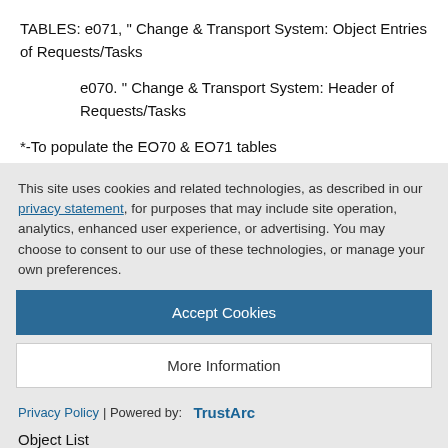TABLES: e071,  " Change & Transport System: Object Entries of Requests/Tasks
e070.  " Change & Transport System: Header of Requests/Tasks
*-To populate the EO70 & EO71 tables
TYPES:
This site uses cookies and related technologies, as described in our privacy statement, for purposes that may include site operation, analytics, enhanced user experience, or advertising. You may choose to consent to our use of these technologies, or manage your own preferences.
Accept Cookies
More Information
Privacy Policy | Powered by:  TrustArc
Object List